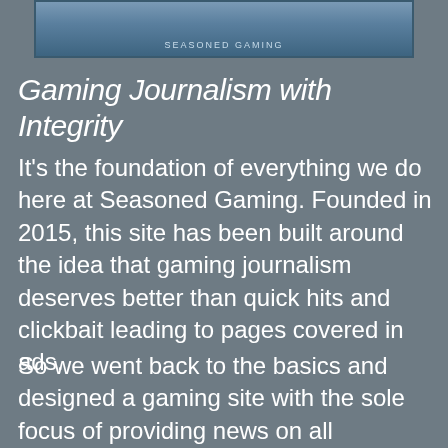[Figure (photo): Partial view of a gaming-themed banner image with text 'SEASONED GAMING' at the bottom]
Gaming Journalism with Integrity
It's the foundation of everything we do here at Seasoned Gaming. Founded in 2015, this site has been built around the idea that gaming journalism deserves better than quick hits and clickbait leading to pages covered in ads.
So we went back to the basics and designed a gaming site with the sole focus of providing news on all platforms without any monetization. Our site, channel, and